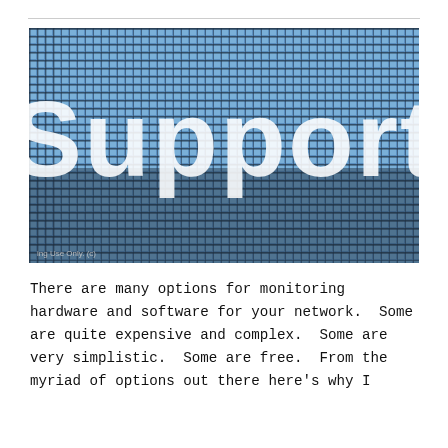[Figure (photo): Close-up photograph of a digital LED/pixel display screen showing the word 'Support' in large white letters with a blue pixelated background. The bottom-left corner has a small watermark text reading 'ing Use Only. (c)']
There are many options for monitoring hardware and software for your network.  Some are quite expensive and complex.  Some are very simplistic.  Some are free.  From the myriad of options out there here's why I